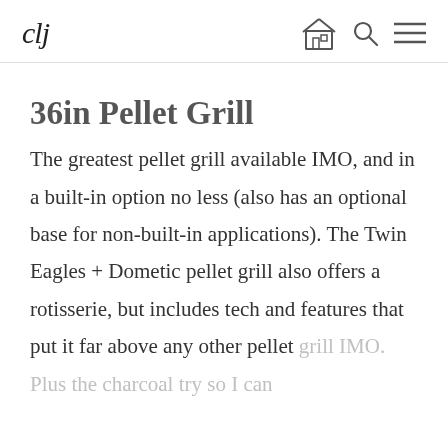clj
36in Pellet Grill
The greatest pellet grill available IMO, and in a built-in option no less (also has an optional base for non-built-in applications). The Twin Eagles + Dometic pellet grill also offers a rotisserie, but includes tech and features that put it far above any other pellet grill IMO. Plus the charcoal try so I can